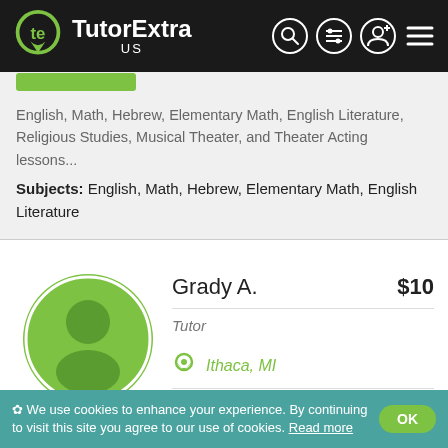TutorExtra US
English, Math, Hebrew, Elementary Math, English Literature, Religious Studies, Musical Theater, and Theater Acting lessons...
Subjects: English, Math, Hebrew, Elementary Math, English Literature
[Figure (illustration): Green circular avatar placeholder with silhouette of a person]
Grady A.   $10
Tutor
Ithaca, MI
https://tutorextra.com/pr...
Send Message
✿ We use cookies to enhance your experience. By continuing to visit this site you agree to our use of cookies. Read more   OK